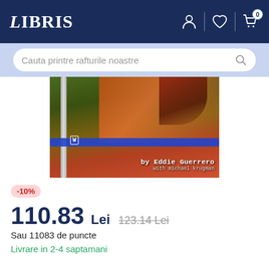LIBRIS
Cauta printre rafturile noastre
[Figure (photo): Book cover showing a WWE wrestling ring with ropes and a wrestler with tattoos. Text overlay reads 'by Eddie Guerrero with Michael Krugman']
-10%
110.83 Lei  123.14 Lei
Sau 11083 de puncte
Livrare in 2-4 saptamani